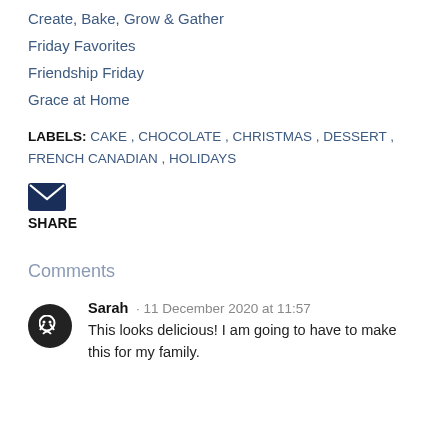Create, Bake, Grow & Gather
Friday Favorites
Friendship Friday
Grace at Home
LABELS: CAKE , CHOCOLATE , CHRISTMAS , DESSERT , FRENCH CANADIAN , HOLIDAYS
[Figure (illustration): Email/envelope icon (dark navy blue filled rectangle with envelope shape)]
SHARE
Comments
Sarah · 11 December 2020 at 11:57
This looks delicious! I am going to have to make this for my family.